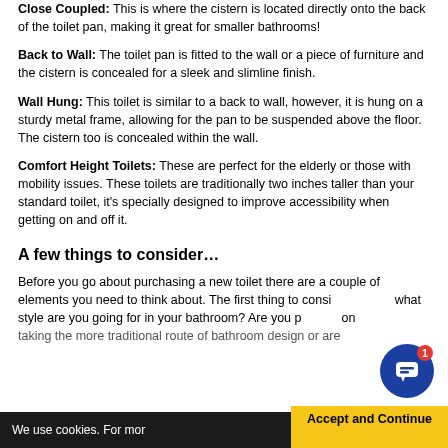Close Coupled: This is where the cistern is located directly onto the back of the toilet pan, making it great for smaller bathrooms!
Back to Wall: The toilet pan is fitted to the wall or a piece of furniture and the cistern is concealed for a sleek and slimline finish.
Wall Hung: This toilet is similar to a back to wall, however, it is hung on a sturdy metal frame, allowing for the pan to be suspended above the floor. The cistern too is concealed within the wall.
Comfort Height Toilets: These are perfect for the elderly or those with mobility issues. These toilets are traditionally two inches taller than your standard toilet, it's specially designed to improve accessibility when getting on and off it.
A few things to consider…
Before you go about purchasing a new toilet there are a couple of elements you need to think about. The first thing to consider is what style are you going for in your bathroom? Are you planning on taking the more traditional route of bathroom design or are…